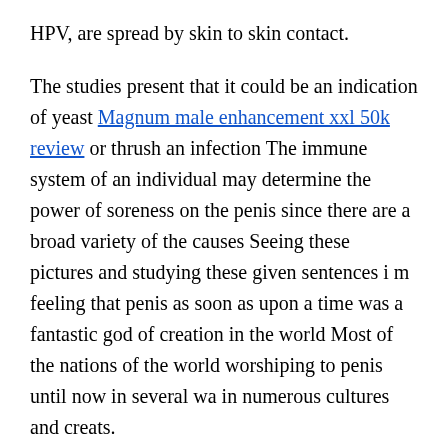HPV, are spread by skin to skin contact.
The studies present that it could be an indication of yeast Magnum male enhancement xxl 50k review or thrush an infection The immune system of an individual may determine the power of soreness on the penis since there are a broad variety of the causes Seeing these pictures and studying these given sentences i m feeling that penis as soon as upon a time was a fantastic god of creation in the world Most of the nations of the world worshiping to penis until now in several wa in numerous cultures and creats.
Take 1 capsule every day for 28 days Sildenafil in a row, and then start a new pack on day 29 The last tablets in 28 day packs of mixture tablets don t have hormones in them These drugs are known as reminder or placebo